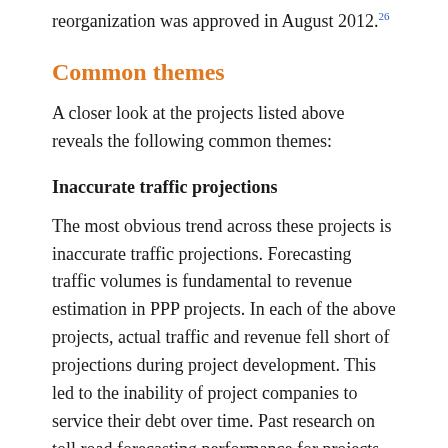reorganization was approved in August 2012.26
Common themes
A closer look at the projects listed above reveals the following common themes:
Inaccurate traffic projections
The most obvious trend across these projects is inaccurate traffic projections. Forecasting traffic volumes is fundamental to revenue estimation in PPP projects. In each of the above projects, actual traffic and revenue fell short of projections during project development. This led to the inability of project companies to service their debt over time. Past research on toll road forecasting performance for projects revealed optimism bias and large differences between predicted and actual revenues generated. A study of 100 toll road projects showed that actual traffic in the first year was between 86% below to 51% above predicted